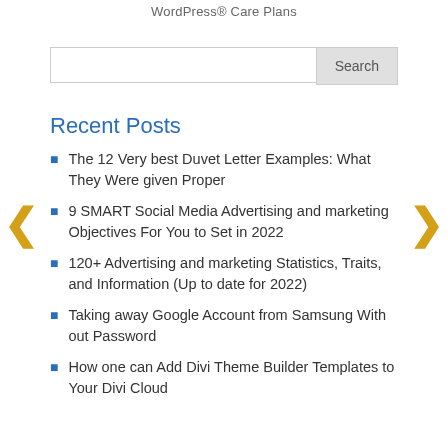WordPress® Care Plans
Search
Recent Posts
The 12 Very best Duvet Letter Examples: What They Were given Proper
9 SMART Social Media Advertising and marketing Objectives For You to Set in 2022
120+ Advertising and marketing Statistics, Traits, and Information (Up to date for 2022)
Taking away Google Account from Samsung With out Password
How one can Add Divi Theme Builder Templates to Your Divi Cloud